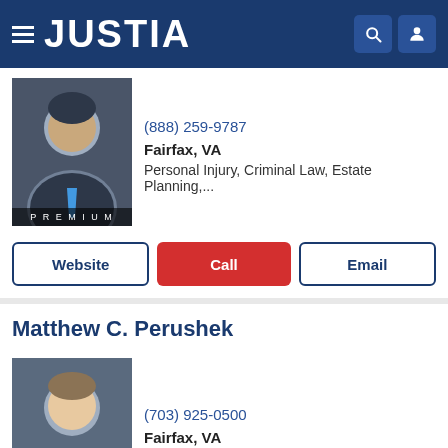JUSTIA
[Figure (photo): Attorney headshot photo with PREMIUM badge]
(888) 259-9787
Fairfax, VA
Personal Injury, Criminal Law, Estate Planning,...
Website
Call
Email
Matthew C. Perushek
[Figure (photo): Matthew C. Perushek attorney headshot photo with PREMIUM badge]
(703) 925-0500
Fairfax, VA
Personal Injury, Medical Malpractice, Product...
Website
Call
Email
Steven M. Frei